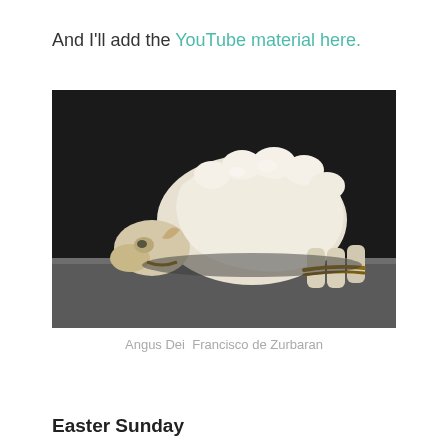And I'll add the YouTube material here.
[Figure (photo): Painting of a bound lamb lying on a stone ledge against a dark background — Agnus Dei by Francisco de Zurbaran]
Angus Dei  Francisco de Zurbaran
Easter Sunday